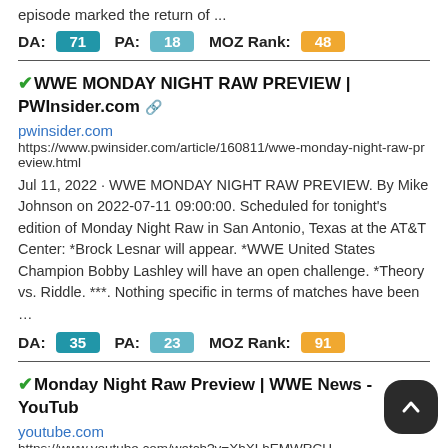episode marked the return of ...
DA: 71  PA: 18  MOZ Rank: 48
✔WWE MONDAY NIGHT RAW PREVIEW | PWInsider.com 🔗
pwinsider.com
https://www.pwinsider.com/article/160811/wwe-monday-night-raw-preview.html
Jul 11, 2022 · WWE MONDAY NIGHT RAW PREVIEW. By Mike Johnson on 2022-07-11 09:00:00. Scheduled for tonight's edition of Monday Night Raw in San Antonio, Texas at the AT&T Center: *Brock Lesnar will appear. *WWE United States Champion Bobby Lashley will have an open challenge. *Theory vs. Riddle. ***. Nothing specific in terms of matches have been …
DA: 35  PA: 23  MOZ Rank: 91
✔Monday Night Raw Preview | WWE News - YouTube
youtube.com
https://www.youtube.com/watch?v=XhXLhEMWRCU